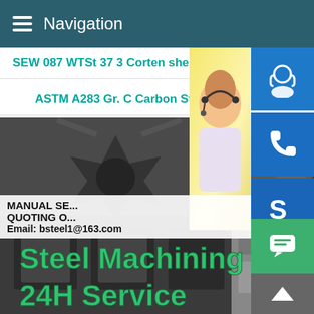Navigation
SEW 087 WTSt 37 3 Corten sheet w
ASTM A283 Gr. C Carbon Ste
[Figure (photo): Steel machining parts collage showing gear-shaped steel cuts, metal rings, stamped metal tiles, and machined bolts with text overlay 'Steel Machining 24H Service']
[Figure (photo): Customer service representative (woman with headset) on right side with blue icon buttons for chat, phone, and Skype]
MANUAL SE... QUOTING O... Email: bsteel1@163.com